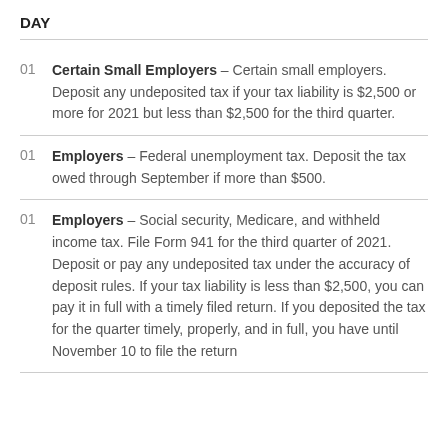DAY
01 Certain Small Employers – Certain small employers. Deposit any undeposited tax if your tax liability is $2,500 or more for 2021 but less than $2,500 for the third quarter.
01 Employers – Federal unemployment tax. Deposit the tax owed through September if more than $500.
01 Employers – Social security, Medicare, and withheld income tax. File Form 941 for the third quarter of 2021. Deposit or pay any undeposited tax under the accuracy of deposit rules. If your tax liability is less than $2,500, you can pay it in full with a timely filed return. If you deposited the tax for the quarter timely, properly, and in full, you have until November 10 to file the return